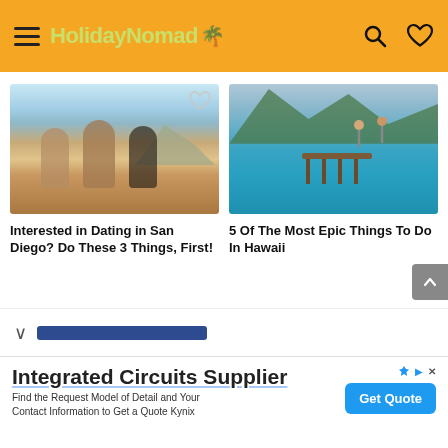HolidayNomad
[Figure (photo): Three young women in sunglasses and summer clothes on a sandy beach, arms around each other, smiling]
[Figure (photo): People jumping off a wooden pier into turquoise water with green mountains in the background in Hawaii]
Interested in Dating in San Diego? Do These 3 Things, First!
5 Of The Most Epic Things To Do In Hawaii
Integrated Circuits Supplier
Find the Request Model of Detail and Your Contact Information to Get a Quote Kynix
Get Quote